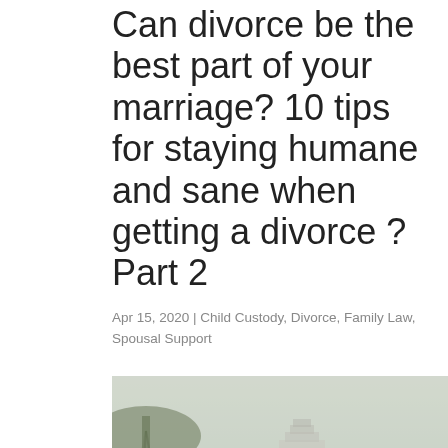Can divorce be the best part of your marriage? 10 tips for staying humane and sane when getting a divorce ? Part 2
Apr 15, 2020 | Child Custody, Divorce, Family Law, Spousal Support
[Figure (photo): A couple sitting apart on a bench near a lake, with a historic tower building visible in the foggy background among weeping willow trees. The woman in white sits facing away from the man in gray.]